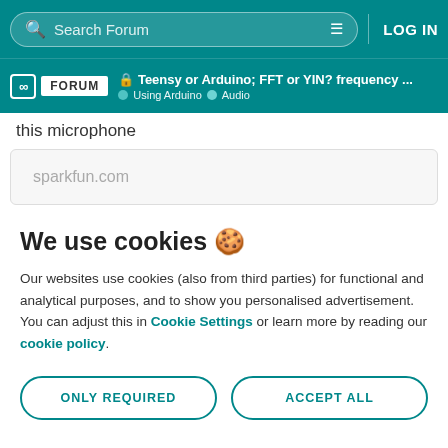Search Forum   LOG IN
FORUM  🔒 Teensy or Arduino; FFT or YIN? frequency ...  Using Arduino  Audio
this microphone
[Figure (screenshot): Link preview box showing sparkfun.com]
We use cookies 🍪
Our websites use cookies (also from third parties) for functional and analytical purposes, and to show you personalised advertisement. You can adjust this in Cookie Settings or learn more by reading our cookie policy.
ONLY REQUIRED   ACCEPT ALL